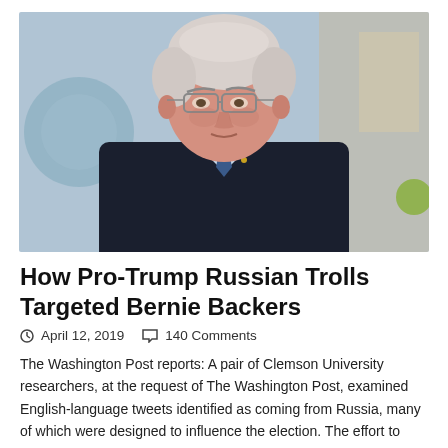[Figure (photo): Photo of Bernie Sanders, an elderly white-haired man wearing glasses and a dark suit with a blue dotted tie, appearing to speak during a television interview against a blurred studio background.]
How Pro-Trump Russian Trolls Targeted Bernie Backers
April 12, 2019   140 Comments
The Washington Post reports: A pair of Clemson University researchers, at the request of The Washington Post, examined English-language tweets identified as coming from Russia, many of which were designed to influence the election. The effort to promote Sanders as a way to influence the U.S. election began shortly after he